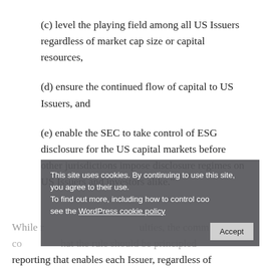(c) level the playing field among all US Issuers regardless of market cap size or capital resources,
(d) ensure the continued flow of capital to US Issuers, and
(e) enable the SEC to take control of ESG disclosure for the US capital markets before other jurisdictions impose disclosure regimes on US Issuers and investors alike.”
While recognizing these difficulties, the committee contended that the rule should be principled reporting that enables each Issuer, regardless of